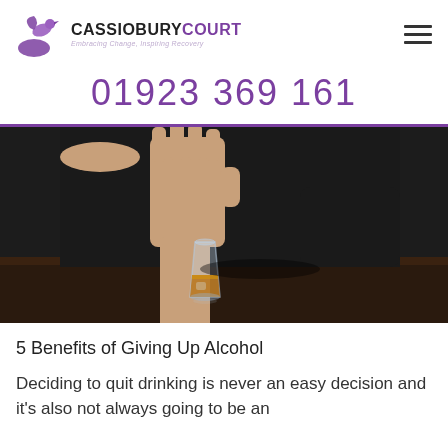CASSIOBURY COURT — Embracing Change, Inspiring Recovery — 01923 369 161
[Figure (photo): Person in black clothing holding hand up in a 'stop' gesture toward a glass of whisky/amber liquid sitting on a dark table.]
5 Benefits of Giving Up Alcohol
Deciding to quit drinking is never an easy decision and it's also not always going to be an